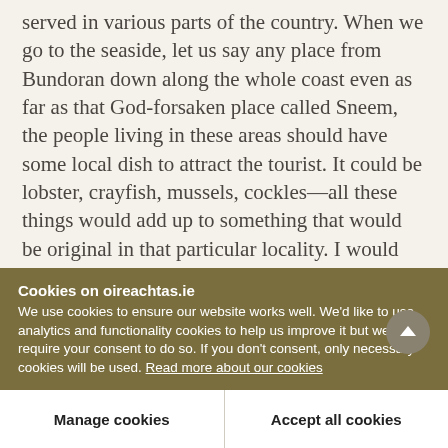served in various parts of the country. When we go to the seaside, let us say any place from Bundoran down along the whole coast even as far as that God-forsaken place called Sneem, the people living in these areas should have some local dish to attract the tourist. It could be lobster, crayfish, mussels, cockles—all these things would add up to something that would be original in that particular locality. I would suggest to Bord Fáilte through the Minister that those local dishes should be on the menu. On various parts of the Continent a local dish is an
Cookies on oireachtas.ie
We use cookies to ensure our website works well. We'd like to use analytics and functionality cookies to help us improve it but we require your consent to do so. If you don't consent, only necessary cookies will be used. Read more about our cookies
Manage cookies
Accept all cookies